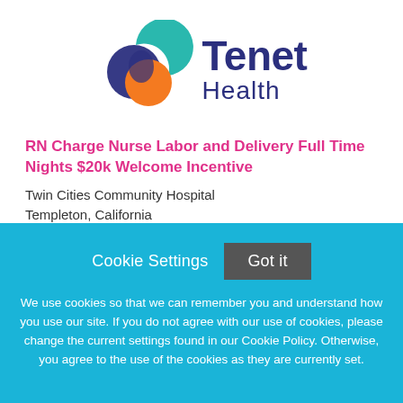[Figure (logo): Tenet Health logo with interlocking circles in blue, teal, and orange, and text 'Tenet Health' in dark blue]
RN Charge Nurse Labor and Delivery Full Time Nights $20k Welcome Incentive
Twin Cities Community Hospital
Templeton, California
Cookie Settings  Got it
We use cookies so that we can remember you and understand how you use our site. If you do not agree with our use of cookies, please change the current settings found in our Cookie Policy. Otherwise, you agree to the use of the cookies as they are currently set.